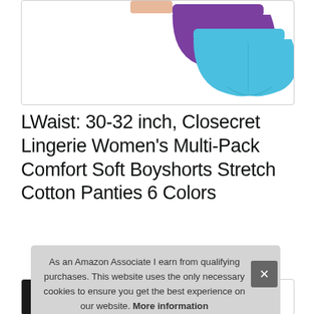[Figure (photo): Product photo showing purple and cyan/teal boyshort underwear displayed against a white background inside a bordered box]
LWaist: 30-32 inch, Closecret Lingerie Women's Multi-Pack Comfort Soft Boyshorts Stretch Cotton Panties 6 Colors
[Figure (photo): Thumbnail product images strip at the bottom of the page showing different views/colors of the underwear]
As an Amazon Associate I earn from qualifying purchases. This website uses the only necessary cookies to ensure you get the best experience on our website. More information